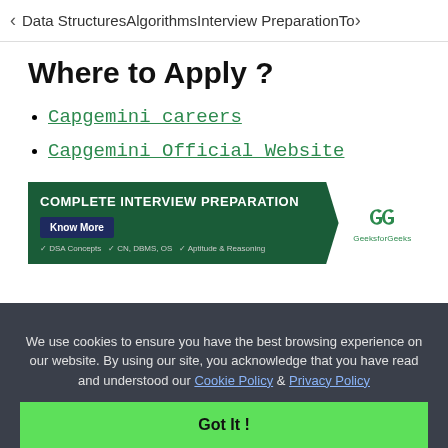< Data Structures   Algorithms   Interview Preparation   To>
Where to Apply ?
Capgemini careers
Capgemini Official Website
[Figure (infographic): GeeksforGeeks Complete Interview Preparation banner ad with green background, Know More button, and GFG logo. Checklist: DSA Concepts, CN, DBMS, OS, Aptitude & Reasoning.]
We use cookies to ensure you have the best browsing experience on our website. By using our site, you acknowledge that you have read and understood our Cookie Policy & Privacy Policy
Got It !